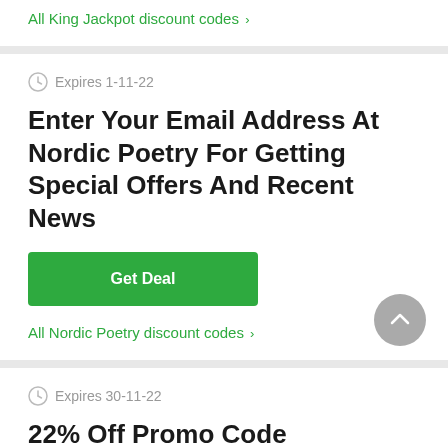All King Jackpot discount codes >
Expires 1-11-22
Enter Your Email Address At Nordic Poetry For Getting Special Offers And Recent News
Get Deal
All Nordic Poetry discount codes >
Expires 30-11-22
22% Off Promo Code